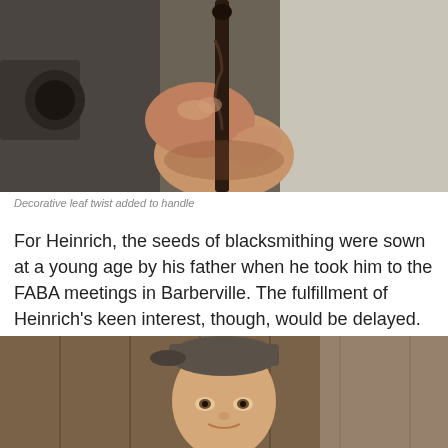[Figure (photo): Close-up photograph of a person's hands holding a dark metal rod or tool with a decorative leaf twist, set against a blurred workshop/machinery background.]
Decorative leaf twist added to handle
For Heinrich, the seeds of blacksmithing were sown at a young age by his father when he took him to the FABA meetings in Barberville. The fulfillment of Heinrich's keen interest, though, would be delayed.
[Figure (photo): Portrait photograph of a young person wearing a backwards cap, smiling slightly, standing in front of wooden planks/barn interior.]